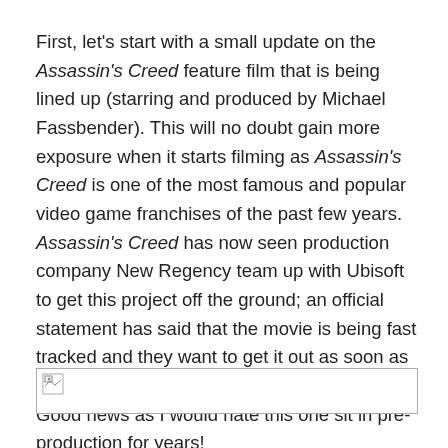First, let's start with a small update on the Assassin's Creed feature film that is being lined up (starring and produced by Michael Fassbender). This will no doubt gain more exposure when it starts filming as Assassin's Creed is one of the most famous and popular video game franchises of the past few years. Assassin's Creed has now seen production company New Regency team up with Ubisoft to get this project off the ground; an official statement has said that the movie is being fast tracked and they want to get it out as soon as possible, to the highest standards reachable. Good news as I would hate this one sit in pre-production for years!
[Figure (other): Broken image placeholder with small image icon in top-left corner and horizontal border]